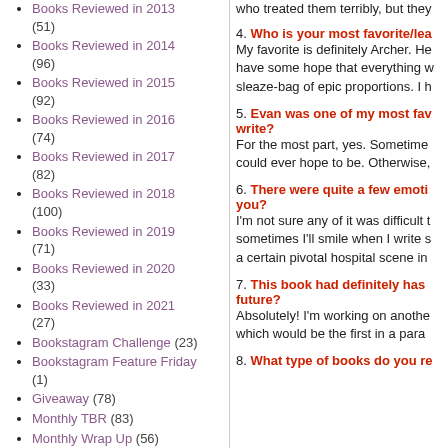Books Reviewed in 2013 (51)
Books Reviewed in 2014 (96)
Books Reviewed in 2015 (92)
Books Reviewed in 2016 (74)
Books Reviewed in 2017 (82)
Books Reviewed in 2018 (100)
Books Reviewed in 2019 (71)
Books Reviewed in 2020 (33)
Books Reviewed in 2021 (27)
Bookstagram Challenge (23)
Bookstagram Feature Friday (1)
Giveaway (78)
Monthly TBR (83)
Monthly Wrap Up (56)
Most Anticipated Monthly
who treated them terribly, but they
4. Who is your most favorite/lea
My favorite is definitely Archer. He
have some hope that everything w
sleaze-bag of epic proportions. I h
5. Evan was one of my most fav
write?
For the most part, yes. Sometime
could ever hope to be. Otherwise,
6. There were quite a few emoti
you?
I'm not sure any of it was difficult t
sometimes I'll smile when I write s
a certain pivotal hospital scene in
7. This book had definitely has
future?
Absolutely! I'm working on anothe
which would be the first in a para
8. What type of books do you re